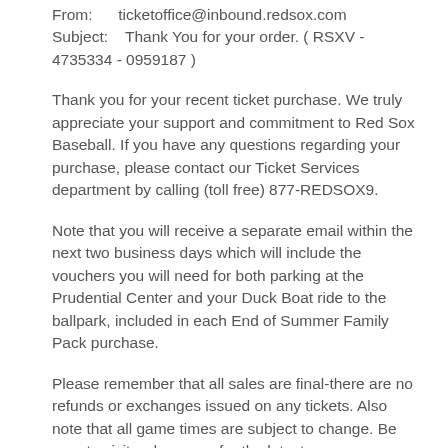From:      ticketoffice@inbound.redsox.com
Subject:    Thank You for your order. ( RSXV - 4735334 - 0959187 )
Thank you for your recent ticket purchase. We truly appreciate your support and commitment to Red Sox Baseball. If you have any questions regarding your purchase, please contact our Ticket Services department by calling (toll free) 877-REDSOX9.
Note that you will receive a separate email within the next two business days which will include the vouchers you will need for both parking at the Prudential Center and your Duck Boat ride to the ballpark, included in each End of Summer Family Pack purchase.
Please remember that all sales are final-there are no refunds or exchanges issued on any tickets. Also note that all game times are subject to change. Be sure to visit redsox.com for the latest